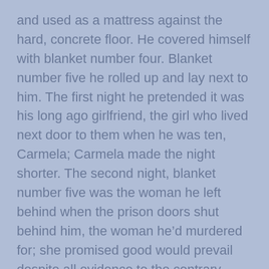and used as a mattress against the hard, concrete floor. He covered himself with blanket number four. Blanket number five he rolled up and lay next to him. The first night he pretended it was his long ago girlfriend, the girl who lived next door to them when he was ten, Carmela; Carmela made the night shorter. The second night, blanket number five was the woman he left behind when the prison doors shut behind him, the woman he'd murdered for; she promised good would prevail despite all evidence to the contrary.

    On the third night, when everything became too real no matter how he twisted his mind, when seven men promised they'd “get him” before the week finished, when the bed bugs and the heat and the prison guards high with their small power picked and poked him until ignoring was not an